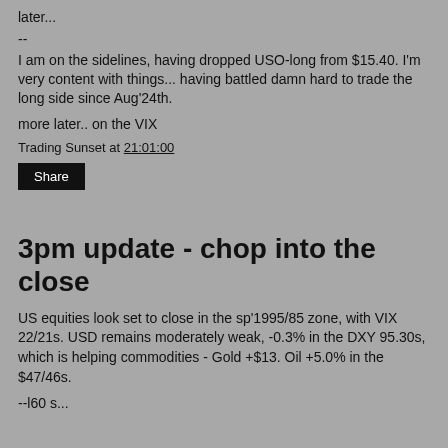later...
--
I am on the sidelines, having dropped USO-long from $15.40. I'm very content with things... having battled damn hard to trade the long side since Aug'24th.
more later.. on the VIX
Trading Sunset at 21:01:00
Share
3pm update - chop into the close
US equities look set to close in the sp'1995/85 zone, with VIX 22/21s. USD remains moderately weak, -0.3% in the DXY 95.30s, which is helping commodities - Gold +$13. Oil +5.0% in the $47/46s.
--l60 s...